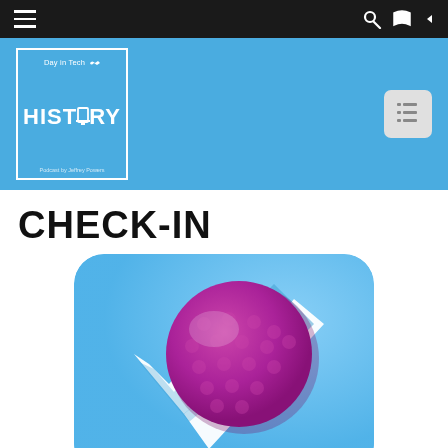Navigation bar with hamburger menu, search icon, RSS icon
[Figure (logo): Day in Tech HISTORY podcast logo in blue square with white border. Text reads 'Day in Tech' on top with 'HISTORY' in large bold letters and monitor icon. Bottom text reads 'Podcast by Jeffrey Powers']
CHECK-IN
[Figure (illustration): Foursquare app icon showing a blue checkmark/arrow shape with a magenta/purple circle (location pin head) with dotted texture pattern, on a light blue background with rounded corners]